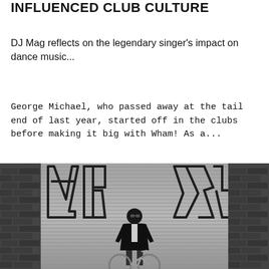INFLUENCED CLUB CULTURE
DJ Mag reflects on the legendary singer's impact on dance music...
George Michael, who passed away at the tail end of last year, started off in the clubs before making it big with Wham! As a...
[Figure (photo): Black and white photograph of a man wearing sunglasses and a dark jacket, sitting on a bicycle in front of a metal shutter with large graffiti characters, flanked by brick walls on either side.]